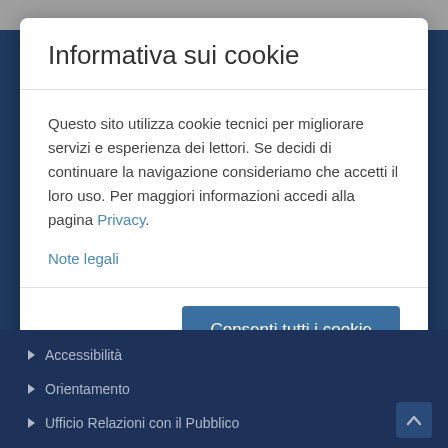Informativa sui cookie
Questo sito utilizza cookie tecnici per migliorare servizi e esperienza dei lettori. Se decidi di continuare la navigazione consideriamo che accetti il loro uso. Per maggiori informazioni accedi alla pagina Privacy.
Note legali
Accessibilità
Orientamento
Ufficio Relazioni con il Pubblico
Credits
Mappa del sito